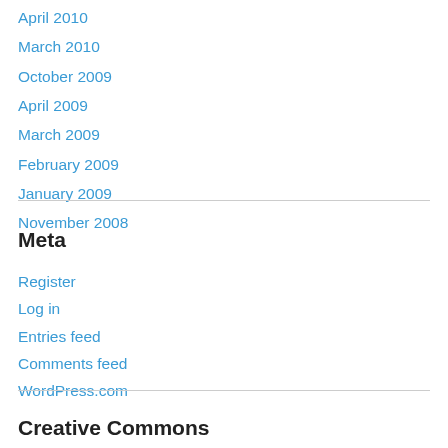April 2010
March 2010
October 2009
April 2009
March 2009
February 2009
January 2009
November 2008
Meta
Register
Log in
Entries feed
Comments feed
WordPress.com
Creative Commons